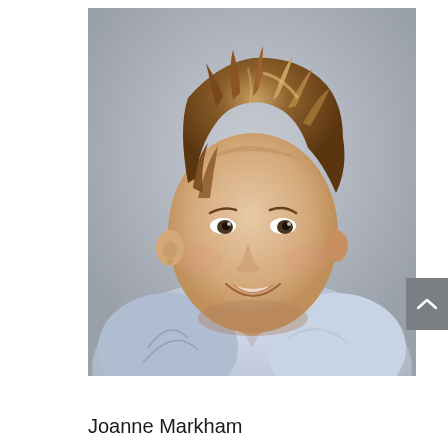[Figure (photo): Portrait photo of a smiling woman with short spiky auburn hair, wearing a sleeveless light blue/grey printed top, against a grey background. She has small stud earrings and a fine necklace.]
Joanne Markham